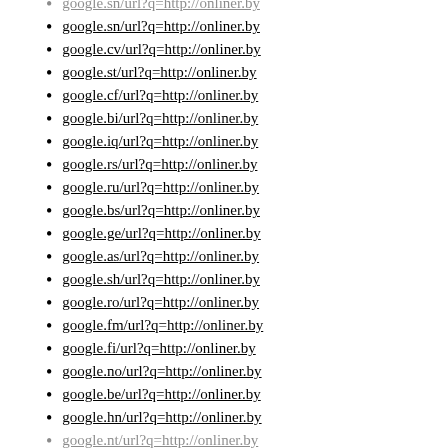google.sn/url?q=http://onliner.by
google.cv/url?q=http://onliner.by
google.st/url?q=http://onliner.by
google.cf/url?q=http://onliner.by
google.bi/url?q=http://onliner.by
google.iq/url?q=http://onliner.by
google.rs/url?q=http://onliner.by
google.ru/url?q=http://onliner.by
google.bs/url?q=http://onliner.by
google.ge/url?q=http://onliner.by
google.as/url?q=http://onliner.by
google.sh/url?q=http://onliner.by
google.ro/url?q=http://onliner.by
google.fm/url?q=http://onliner.by
google.fi/url?q=http://onliner.by
google.no/url?q=http://onliner.by
google.be/url?q=http://onliner.by
google.hn/url?q=http://onliner.by